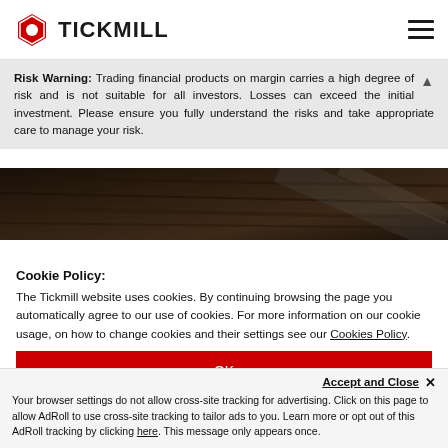TICKMILL
Risk Warning: Trading financial products on margin carries a high degree of risk and is not suitable for all investors. Losses can exceed the initial investment. Please ensure you fully understand the risks and take appropriate care to manage your risk.
[Figure (photo): Dark wood surface / hero image background]
Cookie Policy:
The Tickmill website uses cookies. By continuing browsing the page you automatically agree to our use of cookies. For more information on our cookie usage, on how to change cookies and their settings see our Cookies Policy.
OK
Accept and Close ✕
Your browser settings do not allow cross-site tracking for advertising. Click on this page to allow AdRoll to use cross-site tracking to tailor ads to you. Learn more or opt out of this AdRoll tracking by clicking here. This message only appears once.